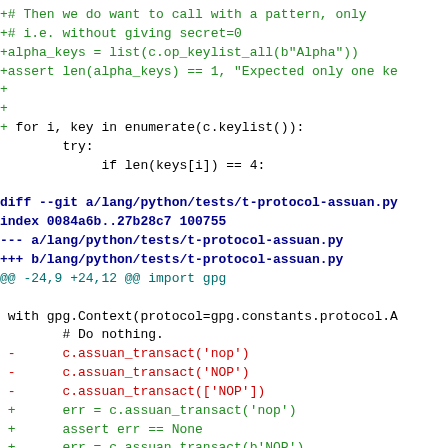+# Then we do want to call with a pattern, only
+# i.e. without giving secret=0
+alpha_keys = list(c.op_keylist_all(b"Alpha"))
+assert len(alpha_keys) == 1, "Expected only one ke
+
+
+
 for i, key in enumerate(c.keylist()):
        try:
             if len(keys[i]) == 4:

diff --git a/lang/python/tests/t-protocol-assuan.py
index 0084a6b..27b28c7 100755
--- a/lang/python/tests/t-protocol-assuan.py
+++ b/lang/python/tests/t-protocol-assuan.py
@@ -24,9 +24,12 @@ import gpg

  with gpg.Context(protocol=gpg.constants.protocol.A
        # Do nothing.
 -      c.assuan_transact('nop')
 -      c.assuan_transact('NOP')
 -      c.assuan_transact(['NOP'])
 +      err = c.assuan_transact('nop')
 +      assert err == None
 +      err = c.assuan_transact(b'NOP')
 +      assert err == None
 +      err = c.assuan_transact(['NOP'])
 +      assert err == None

        err = c.assuan_transact('idontexist')